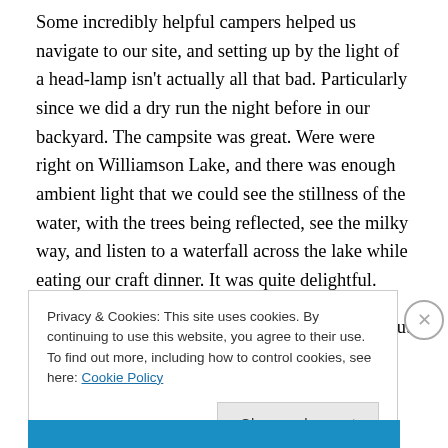Some incredibly helpful campers helped us navigate to our site, and setting up by the light of a head-lamp isn't actually all that bad. Particularly since we did a dry run the night before in our backyard. The campsite was great. Were were right on Williamson Lake, and there was enough ambient light that we could see the stillness of the water, with the trees being reflected, see the milky way, and listen to a waterfall across the lake while eating our craft dinner. It was quite delightful.
We wanted to get an early start in the morning, but not
Privacy & Cookies: This site uses cookies. By continuing to use this website, you agree to their use.
To find out more, including how to control cookies, see here: Cookie Policy